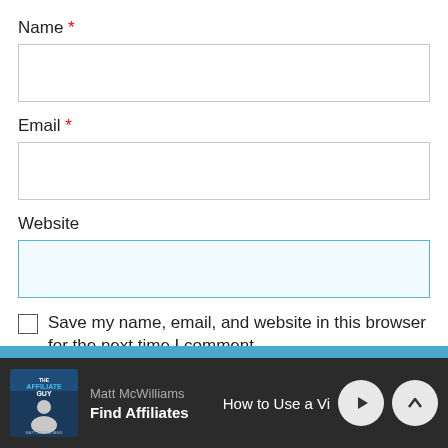Name *
[Figure (screenshot): Empty text input field for Name]
Email *
[Figure (screenshot): Empty text input field for Email]
Website
[Figure (screenshot): Empty text input field for Website with blue highlight]
Save my name, email, and website in this browser for the next time I comment.
[Figure (screenshot): Podcast player bar: The Affiliate Guy - Matt McWilliams, Find Affiliates, How to Use a Vi, with play and chevron-up buttons]